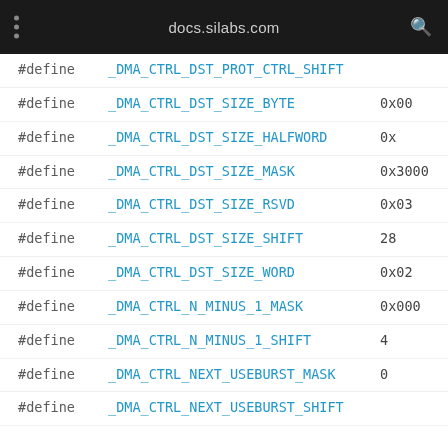docs.silabs.com
#define _DMA_CTRL_DST_PROT_CTRL_SHIFT
#define _DMA_CTRL_DST_SIZE_BYTE 0x00
#define _DMA_CTRL_DST_SIZE_HALFWORD 0x
#define _DMA_CTRL_DST_SIZE_MASK 0x3000
#define _DMA_CTRL_DST_SIZE_RSVD 0x03
#define _DMA_CTRL_DST_SIZE_SHIFT 28
#define _DMA_CTRL_DST_SIZE_WORD 0x02
#define _DMA_CTRL_N_MINUS_1_MASK 0x000
#define _DMA_CTRL_N_MINUS_1_SHIFT 4
#define _DMA_CTRL_NEXT_USEBURST_MASK 0
#define _DMA_CTRL_NEXT_USEBURST_SHIFT